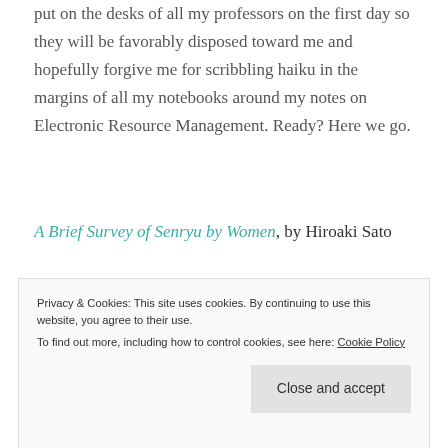put on the desks of all my professors on the first day so they will be favorably disposed toward me and hopefully forgive me for scribbling haiku in the margins of all my notebooks around my notes on Electronic Resource Management. Ready? Here we go.
A Brief Survey of Senryu by Women, by Hiroaki Sato
This essay, published in Modern Haiku 34.1 in spring 2003, first makes a quick stab at trying to define how
senryu these days can be blurry in the extreme. Most of
Privacy & Cookies: This site uses cookies. By continuing to use this website, you agree to their use.
To find out more, including how to control cookies, see here: Cookie Policy